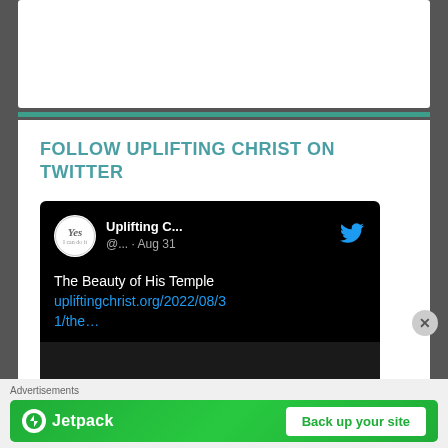FOLLOW UPLIFTING CHRIST ON TWITTER
[Figure (screenshot): A dark-themed Twitter/X embed card showing 'Uplifting C...' account (@...) with a post dated Aug 31 reading 'The Beauty of His Temple upliftingchrist.org/2022/08/31/the...' with a YES logo avatar and Twitter bird icon]
Advertisements
[Figure (infographic): Jetpack advertisement banner with green background, Jetpack logo on left and 'Back up your site' button on right]